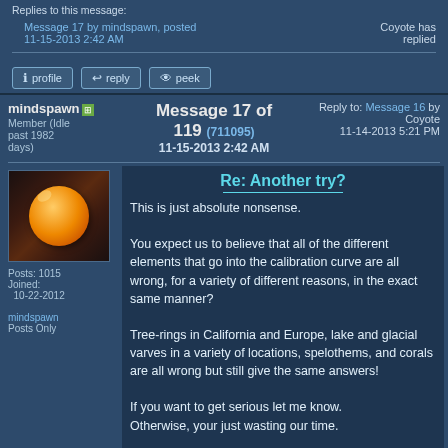Replies to this message:
Message 17 by mindspawn, posted 11-15-2013 2:42 AM
Coyote has replied
[Figure (screenshot): Forum navigation buttons: profile, reply, peek]
mindspawn | Message 17 of 119 (711095) | 11-15-2013 2:42 AM | Reply to: Message 16 by Coyote 11-14-2013 5:21 PM
Member (Idle past 1982 days)
[Figure (photo): User avatar showing an orange spherical object resembling an embryo or cell against a dark background]
Posts: 1015
Joined: 10-22-2012
mindspawn
Posts Only
Re: Another try?
This is just absolute nonsense.

You expect us to believe that all of the different elements that go into the calibration curve are all wrong, for a variety of different reasons, in the exact same manner?

Tree-rings in California and Europe, lake and glacial varves in a variety of locations, spelothems, and corals are all wrong but still give the same answers!

If you want to get serious let me know. Otherwise, your just wasting our time.